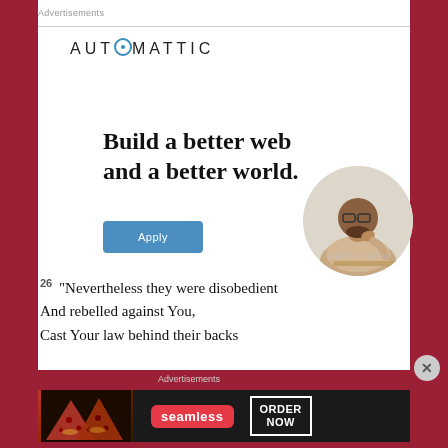Advertisements
[Figure (illustration): Automattic advertisement banner with logo, tagline 'Build a better web and a better world.', Apply button, and circular photo of a man thinking]
REPORT THIS AD
26 “Nevertheless they were disobedient And rebelled against You, Cast Your law behind their backs
Advertisements
[Figure (illustration): Seamless food delivery advertisement with pizza image, Seamless logo badge, and ORDER NOW button]